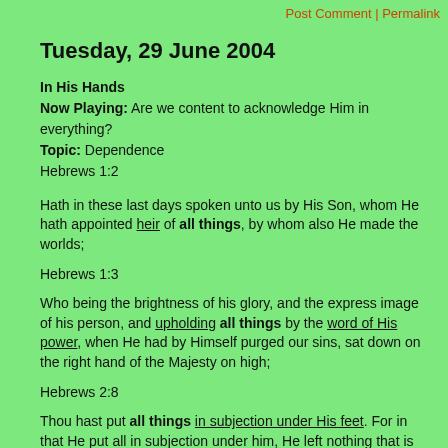Post Comment | Permalink
Tuesday, 29 June 2004
In His Hands
Now Playing: Are we content to acknowledge Him in everything?
Topic: Dependence
Hebrews 1:2
Hath in these last days spoken unto us by His Son, whom He hath appointed heir of all things, by whom also He made the worlds;
Hebrews 1:3
Who being the brightness of his glory, and the express image of his person, and upholding all things by the word of His power, when He had by Himself purged our sins, sat down on the right hand of the Majesty on high;
Hebrews 2:8
Thou hast put all things in subjection under His feet. For in that He put all in subjection under him, He left nothing that is not put under Him. But now we see not yet all things put under Him.